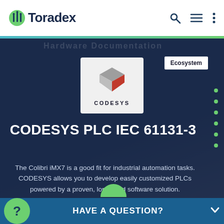[Figure (logo): Toradex logo with green antenna icon and wordmark]
[Figure (logo): CODESYS logo - 3D cube in grey and red with CODESYS text below]
Ecosystem
CODESYS PLC IEC 61131-3
The Colibri iMX7 is a good fit for industrial automation tasks. CODESYS allows you to develop easily customized PLCs powered by a proven, long-lived software solution.
Get started with CODESYS on Torizon
HAVE A QUESTION?